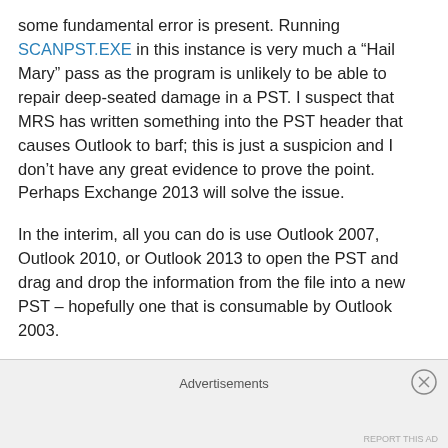some fundamental error is present. Running SCANPST.EXE in this instance is very much a “Hail Mary” pass as the program is unlikely to be able to repair deep-seated damage in a PST. I suspect that MRS has written something into the PST header that causes Outlook to barf; this is just a suspicion and I don’t have any great evidence to prove the point. Perhaps Exchange 2013 will solve the issue.
In the interim, all you can do is use Outlook 2007, Outlook 2010, or Outlook 2013 to open the PST and drag and drop the information from the file into a new PST – hopefully one that is consumable by Outlook 2003.
Advertisements